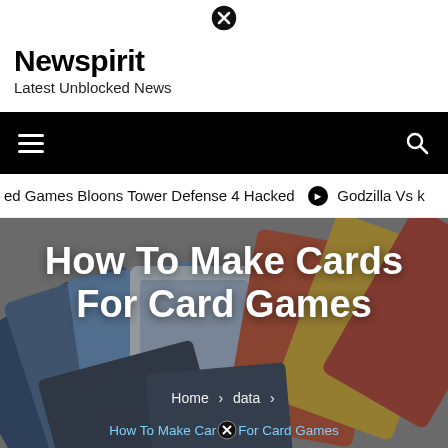Newspirit
Latest Unblocked News
[Figure (other): Black circular close/cancel button icon at top center]
[Figure (screenshot): Black navigation bar with hamburger menu icon on left and search icon on right]
ed Games Bloons Tower Defense 4 Hacked  ⊙  Godzilla Vs k
[Figure (photo): Hero image showing colorful card game cards fanned out, with overlay text 'How To Make Cards For Card Games' and breadcrumb navigation]
How To Make Cards For Card Games
Home › data › How To Make Cards For Card Games